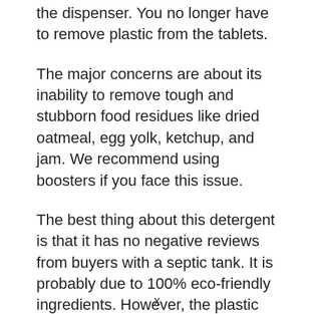the dispenser. You no longer have to remove plastic from the tablets.
The major concerns are about its inability to remove tough and stubborn food residues like dried oatmeal, egg yolk, ketchup, and jam. We recommend using boosters if you face this issue.
The best thing about this detergent is that it has no negative reviews from buyers with a septic tank. It is probably due to 100% eco-friendly ingredients. However, the plastic bottle is still a concern.
x